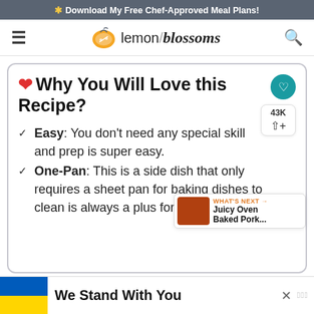* Download My Free Chef-Approved Meal Plans!
[Figure (logo): Lemon Blossoms website header with hamburger menu, lemon logo and site name, and search icon]
❤ Why You Will Love this Recipe?
Easy: You don't need any special skill and prep is super easy.
One-Pan: This is a side dish that only requires a sheet pan for baking dishes to clean is always a plus for me.
[Figure (screenshot): We Stand With You advertisement banner with Ukrainian flag colors]
WHAT'S NEXT → Juicy Oven Baked Pork...